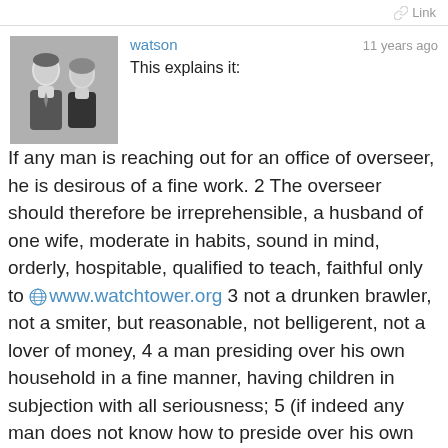Link
[Figure (photo): Black and white photo showing two people, a man and a woman]
watson
11 years ago
This explains it:
If any man is reaching out for an office of overseer, he is desirous of a fine work. 2 The overseer should therefore be irreprehensible, a husband of one wife, moderate in habits, sound in mind, orderly, hospitable, qualified to teach, faithful only to www.watchtower.org 3 not a drunken brawler, not a smiter, but reasonable, not belligerent, not a lover of money, 4 a man presiding over his own household in a fine manner, having children in subjection with all seriousness; 5 (if indeed any man does not know how to preside over his own household, how will he take care of God's congregation?) 6 not a newly converted man, for fear that he might get puffed up [with pride] and fall